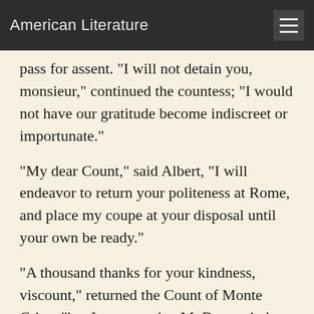American Literature
pass for assent. "I will not detain you, monsieur," continued the countess; "I would not have our gratitude become indiscreet or importunate."
"My dear Count," said Albert, "I will endeavor to return your politeness at Rome, and place my coupe at your disposal until your own be ready."
"A thousand thanks for your kindness, viscount," returned the Count of Monte Cristo "but I suppose that M. Bertuccio has suitably employed the four hours and a half I have given him, and that I shall find a carriage of some sort ready at the door." Albert was used to the count's manner of proceeding; he knew that, like Nero, he was in